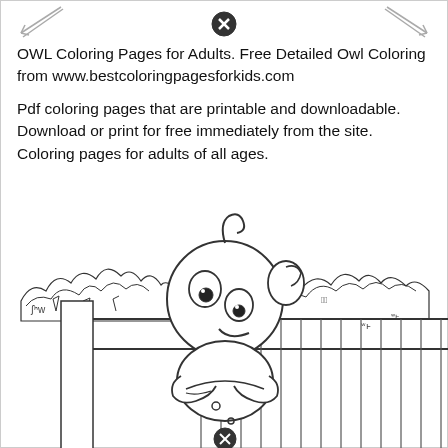[Figure (illustration): Close/X button icon at top center of page]
OWL Coloring Pages for Adults. Free Detailed Owl Coloring from www.bestcoloringpagesforkids.com
Pdf coloring pages that are printable and downloadable. Download or print for free immediately from the site. Coloring pages for adults of all ages.
[Figure (illustration): Black and white coloring page illustration of a cartoon alien/bug character with large round head, antennae, big eyes, and folded arms, standing behind a wooden fence with bushes/shrubs in the background. A close/X button appears at the bottom center.]